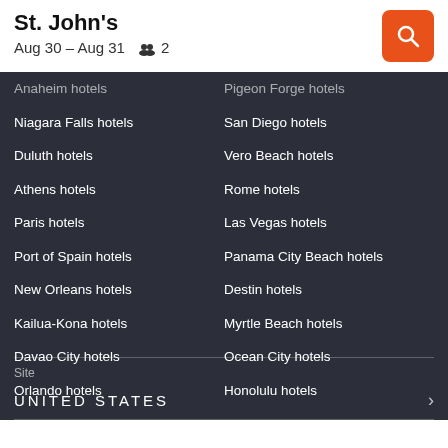St. John's
Aug 30 – Aug 31  👥 2
Anaheim hotels
Pigeon Forge hotels
Niagara Falls hotels
San Diego hotels
Duluth hotels
Vero Beach hotels
Athens hotels
Rome hotels
Paris hotels
Las Vegas hotels
Port of Spain hotels
Panama City Beach hotels
New Orleans hotels
Destin hotels
Kailua-Kona hotels
Myrtle Beach hotels
Davao City hotels
Ocean City hotels
Orlando hotels
Honolulu hotels
Site
UNITED STATES